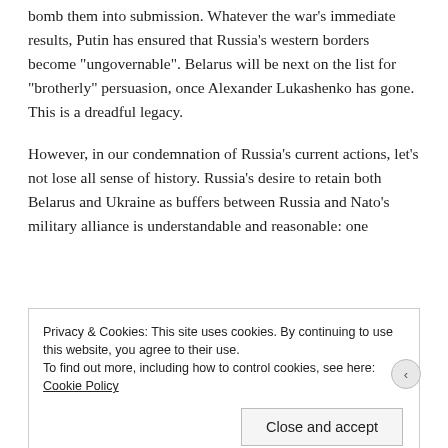bomb them into submission. Whatever the war's immediate results, Putin has ensured that Russia's western borders become "ungovernable". Belarus will be next on the list for "brotherly" persuasion, once Alexander Lukashenko has gone. This is a dreadful legacy.
However, in our condemnation of Russia's current actions, let's not lose all sense of history. Russia's desire to retain both Belarus and Ukraine as buffers between Russia and Nato's military alliance is understandable and reasonable: one
Privacy & Cookies: This site uses cookies. By continuing to use this website, you agree to their use.
To find out more, including how to control cookies, see here: Cookie Policy
Close and accept